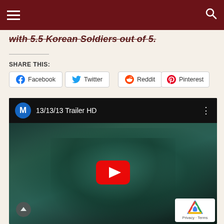Navigation bar with hamburger menu and search icon
with 5.5 Korean Soldiers out of 5.
SHARE THIS:
Facebook
Twitter
Reddit
Pinterest
[Figure (screenshot): Embedded YouTube video player showing '13/13/13 Trailer HD' with a man in a blue/teal shirt leaning forward, YouTube play button overlay, and reCAPTCHA badge in bottom right corner.]